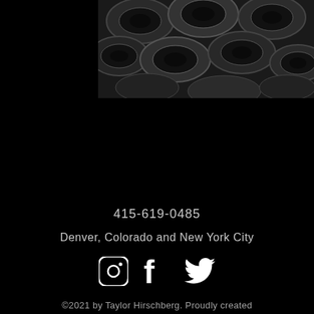[Figure (photo): Black and white photo of a pile of tires viewed from above, showing circular tire treads stacked together]
415-619-0485
Denver, Colorado and New York City
[Figure (illustration): Three white social media icons: Instagram, Facebook, and Twitter]
©2021 by Taylor Hirschberg. Proudly created with Wix.com